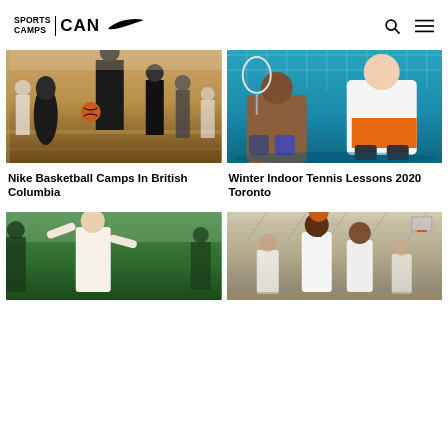SPORTS CAMPS CAN [Nike logo] [search icon] [menu icon]
[Figure (photo): Kids playing basketball in an indoor gymnasium, one player in black uniform dribbling]
[Figure (photo): Two children sitting on a blue tennis court holding rackets, wearing white and orange]
Nike Basketball Camps In British Columbia
Winter Indoor Tennis Lessons 2020 Toronto
[Figure (photo): Person in front of green gym background]
[Figure (photo): Basketball player jumping to shoot in indoor gymnasium]